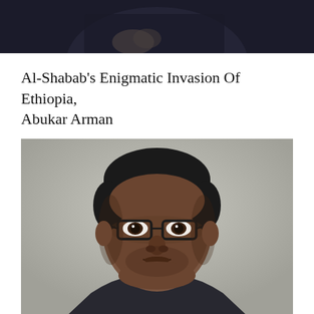[Figure (photo): Partial photo of a person in dark clothing visible at the top of the page, cropped to show lower portion only]
Al-Shabab’s Enigmatic Invasion Of Ethiopia, Abukar Arman
[Figure (photo): Professional headshot portrait of Abukar Arman, a man wearing glasses and a dark suit, against a grey background]